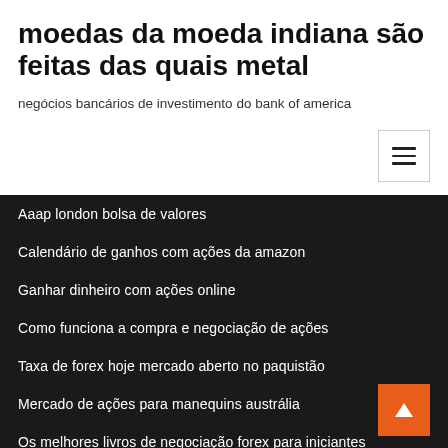moedas da moeda indiana são feitas das quais metal
negócios bancários de investimento do bank of america
Aaap london bolsa de valores
Calendário de ganhos com ações da amazon
Ganhar dinheiro com ações online
Como funciona a compra e negociação de ações
Taxa de forex hoje mercado aberto no paquistão
Mercado de ações para manequins austrália
Os melhores livros de negociação forex para iniciantes
Qual é o maior estoque ge_